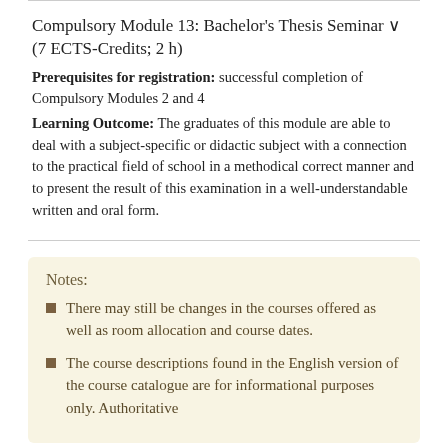Compulsory Module 13: Bachelor's Thesis Seminar (7 ECTS-Credits; 2 h)
Prerequisites for registration: successful completion of Compulsory Modules 2 and 4
Learning Outcome: The graduates of this module are able to deal with a subject-specific or didactic subject with a connection to the practical field of school in a methodical correct manner and to present the result of this examination in a well-understandable written and oral form.
Notes:
There may still be changes in the courses offered as well as room allocation and course dates.
The course descriptions found in the English version of the course catalogue are for informational purposes only. Authoritative